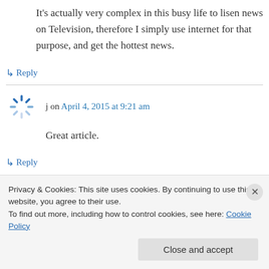It's actually very complex in this busy life to lisen news on Television, therefore I simply use internet for that purpose, and get the hottest news.
↳ Reply
j on April 4, 2015 at 9:21 am
Great article.
↳ Reply
Privacy & Cookies: This site uses cookies. By continuing to use this website, you agree to their use.
To find out more, including how to control cookies, see here: Cookie Policy